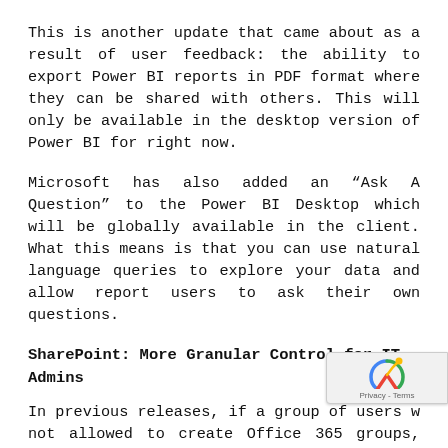This is another update that came about as a result of user feedback: the ability to export Power BI reports in PDF format where they can be shared with others. This will only be available in the desktop version of Power BI for right now.
Microsoft has also added an “Ask A Question” to the Power BI Desktop which will be globally available in the client. What this means is that you can use natural language queries to explore your data and allow report users to ask their own questions.
SharePoint: More Granular Control for IT Admins
In previous releases, if a group of users w... not allowed to create Office 365 groups, they...